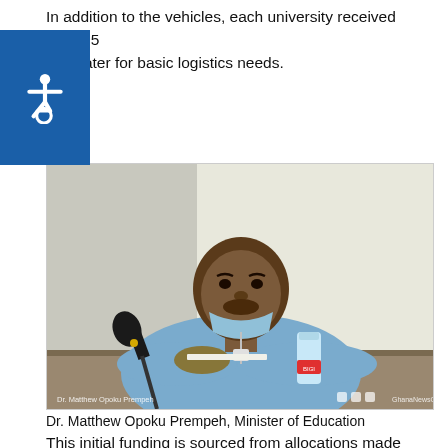In addition to the vehicles, each university received GH¢1.5 n to cater for basic logistics needs.
[Figure (photo): Dr. Matthew Opoku Prempeh, Minister of Education, seated at a table with a microphone, wearing a light blue shirt and face mask pulled down. A water bottle labeled BIGI is on the table. Watermarks visible on bottom corners.]
Dr. Matthew Opoku Prempeh, Minister of Education
This initial funding is sourced from allocations made under GETFund to provide for the most urgent logistics requirements.